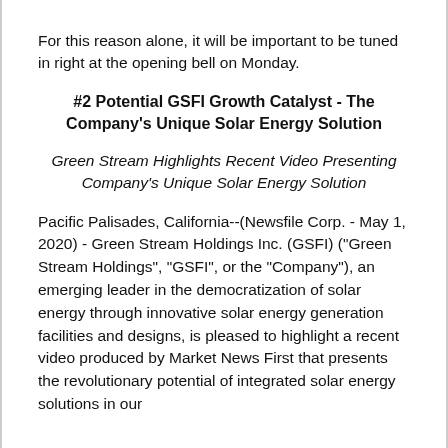For this reason alone, it will be important to be tuned in right at the opening bell on Monday.
#2 Potential GSFI Growth Catalyst - The Company's Unique Solar Energy Solution
Green Stream Highlights Recent Video Presenting Company's Unique Solar Energy Solution
Pacific Palisades, California--(Newsfile Corp. - May 1, 2020) - Green Stream Holdings Inc. (GSFI) ("Green Stream Holdings", "GSFI", or the "Company"), an emerging leader in the democratization of solar energy through innovative solar energy generation facilities and designs, is pleased to highlight a recent video produced by Market News First that presents the revolutionary potential of integrated solar energy solutions in our